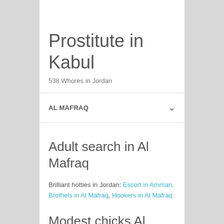Prostitute in Kabul
538 Whores in Jordan
AL MAFRAQ
Adult search in Al Mafraq
Brilliant hotties in Jordan: Escort in Amman, Brothels in Al Mafraq, Hookers in Al Mafraq
Modest chicks Al